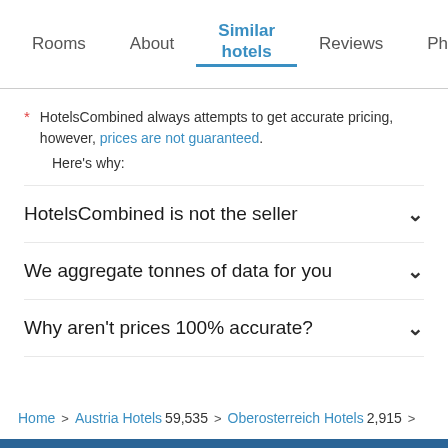Rooms | About | Similar hotels | Reviews | Photos | Loca…
* HotelsCombined always attempts to get accurate pricing, however, prices are not guaranteed.
Here's why:
HotelsCombined is not the seller
We aggregate tonnes of data for you
Why aren't prices 100% accurate?
Home > Austria Hotels 59,535 > Oberosterreich Hotels 2,915 > Hallstatt Hotels 71 > Seewirt Zauner